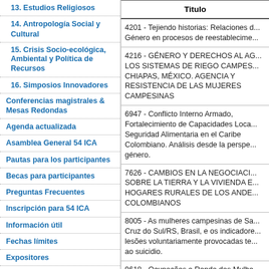13. Estudios Religiosos
14. Antropología Social y Cultural
15. Crisis Socio-ecológica, Ambiental y Política de Recursos
16. Simposios Innovadores
Conferencias magistrales & Mesas Redondas
Agenda actualizada
Asamblea General 54 ICA
Pautas para los participantes
Becas para participantes
Preguntas Frecuentes
Inscripción para 54 ICA
Información útil
Fechas límites
Expositores
Programa social
Servicios mediáticos
Sede del congreso
Organización del viaje
Patrocinadores y colaboradores /
| Titulo |
| --- |
| 4201 - Tejiendo historias: Relaciones de Género en procesos de reestablecime... |
| 4216 - GÉNERO Y DERECHOS AL AG... LOS SISTEMAS DE RIEGO CAMPES... CHIAPAS, MÉXICO. AGENCIA Y RESISTENCIA DE LAS MUJERES CAMPESINAS |
| 6947 - Conflicto Interno Armado, Fortalecimiento de Capacidades Loca... Seguridad Alimentaria en el Caribe Colombiano. Análisis desde la perspe... género. |
| 7626 - CAMBIOS EN LA NEGOCIACI... SOBRE LA TIERRA Y LA VIVIENDA E... HOGARES RURALES DE LOS ANDE... COLOMBIANOS |
| 8005 - As mulheres campesinas de Sa... Cruz do Sul/RS, Brasil, e os indicadore... lesões voluntariamente provocadas te... ao suicidio. |
| 9618 - Ocupações e Renda das Mulhe... Homens no Rural do Estado do Param... Brasil: uma perspectiva de gênero. |